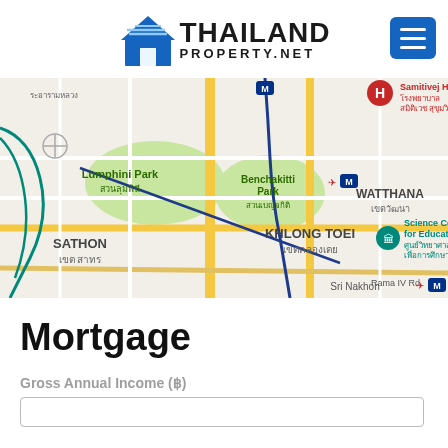[Figure (logo): Thailand Property.net logo with house icon on left and bold text THAILAND PROPERTY.NET on right, plus blue hamburger menu button on far right]
[Figure (map): Google Maps screenshot showing Bangkok districts including Lumphini Park, Benchakitti Park, Khlong Toei, Sathon, Watthana, with Samitivej Hospital marker and Science Center for Education marker, MRT stations marked with M circles]
Mortgage
Gross Annual Income (฿)